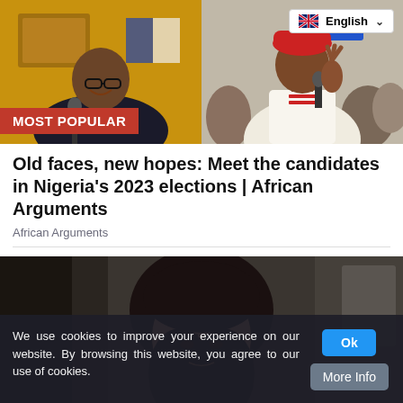[Figure (photo): Two-panel photo collage: left shows a man in dark clothing against a yellow background, right shows a man in white traditional attire with a red cap holding a microphone]
MOST POPULAR
Old faces, new hopes: Meet the candidates in Nigeria's 2023 elections | African Arguments
African Arguments
[Figure (photo): Photo of a woman with dark hair, partially visible, against a dark background]
We use cookies to improve your experience on our website. By browsing this website, you agree to our use of cookies.